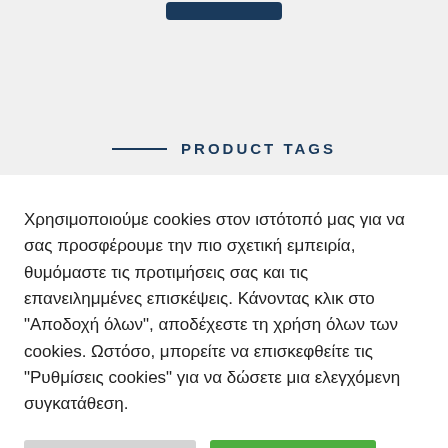[Figure (screenshot): Dark blue button at top of a product page within a light grey section]
PRODUCT TAGS
Χρησιμοποιούμε cookies στον ιστότοπό μας για να σας προσφέρουμε την πιο σχετική εμπειρία, θυμόμαστε τις προτιμήσεις σας και τις επανειλημμένες επισκέψεις. Κάνοντας κλικ στο "Αποδοχή όλων", αποδέχεστε τη χρήση όλων των cookies. Ωστόσο, μπορείτε να επισκεφθείτε τις "Ρυθμίσεις cookies" για να δώσετε μια ελεγχόμενη συγκατάθεση.
Ρυθμίσεις cookies
Αποδοχή όλων